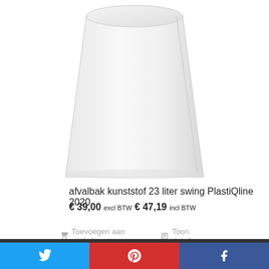[Figure (photo): White plastic swing-lid waste bin, 23 liter, PlastiQline 2020, shown from above at angle against white background]
afvalbak kunststof 23 liter swing PlastiQline 2020
€ 39,00 excl BTW € 47,19 incl BTW
Toevoegen aan winkelwagen   Toon details
Deze website gebruikt cookies, doorgaan op de website betekend dat u hiermee akkoord gaat.